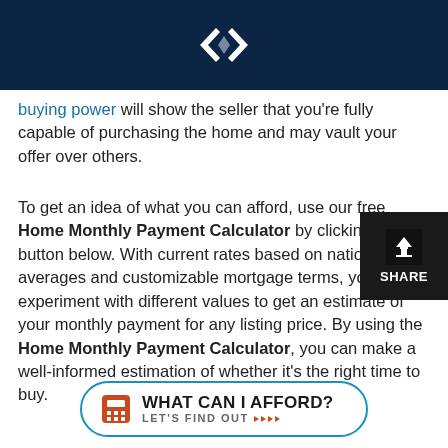[Figure (logo): White geometric double-arrow or chevron logo on dark navy background header bar]
buying power will show the seller that you’re fully capable of purchasing the home and may vault your offer over others.
To get an idea of what you can afford, use our free Home Monthly Payment Calculator by clicking the button below. With current rates based on national averages and customizable mortgage terms, you can experiment with different values to get an estimate of your monthly payment for any listing price. By using the Home Monthly Payment Calculator, you can make a well-informed estimation of whether it’s the right time to buy.
[Figure (other): Black hexagonal pattern SHARE button overlay in bottom-right corner with upload/share icon]
[Figure (other): WHAT CAN I AFFORD? LET'S FIND OUT call-to-action button with calculator icon, teal border, rounded pill shape]